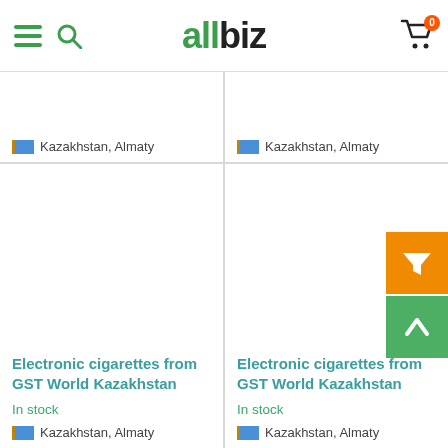allbiz
Kazakhstan, Almaty
Kazakhstan, Almaty
Electronic cigarettes from GST World Kazakhstan
In stock
Kazakhstan, Almaty
Electronic cigarettes from GST World Kazakhstan
In stock
Kazakhstan, Almaty
[Figure (screenshot): Bottom-left product card, partially visible]
[Figure (screenshot): Bottom-right product card, partially visible]